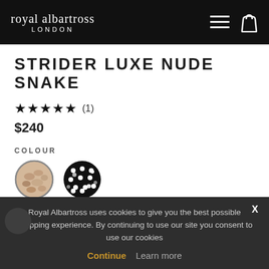royal albartross LONDON
STRIDER LUXE NUDE SNAKE
★★★★★ (1)
$240
COLOUR
[Figure (other): Two circular colour swatches: first is nude/snake skin pattern with border (selected), second is black with white polka dots pattern]
SIZE (US)   WHAT'S MY SIZE?
Royal Albartross uses cookies to give you the best possible shopping experience. By continuing to use our site you consent to use our cookies Continue  Learn more